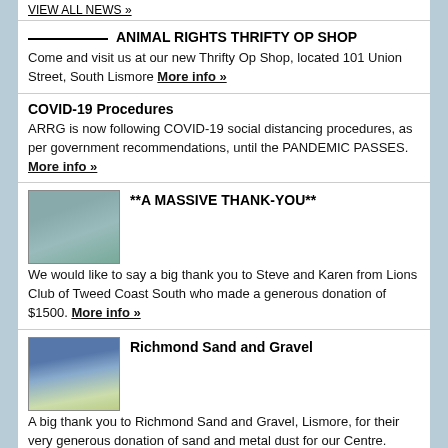VIEW ALL NEWS »
ANIMAL RIGHTS THRIFTY OP SHOP
Come and visit us at our new Thrifty Op Shop, located 101 Union Street, South Lismore More info »
COVID-19 Procedures
ARRG is now following COVID-19 social distancing procedures, as per government recommendations, until the PANDEMIC PASSES. More info »
[Figure (photo): Thumbnail photo for A MASSIVE THANK-YOU section]
**A MASSIVE THANK-YOU**
We would like to say a big thank you to Steve and Karen from Lions Club of Tweed Coast South who made a generous donation of $1500. More info »
[Figure (photo): Thumbnail photo for Richmond Sand and Gravel section]
Richmond Sand and Gravel
A big thank you to Richmond Sand and Gravel, Lismore, for their very generous donation of sand and metal dust for our Centre. More info »
Buy a TShirt and support ARRG
Buy one of these products with our logo and slogan and ARRG receive 20% of profits. More info »